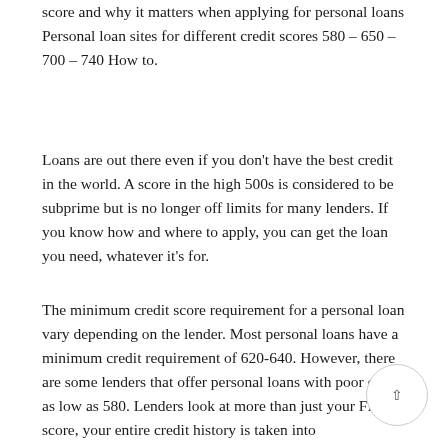score and why it matters when applying for personal loans Personal loan sites for different credit scores 580 – 650 – 700 – 740 How to.
Loans are out there even if you don't have the best credit in the world. A score in the high 500s is considered to be subprime but is no longer off limits for many lenders. If you know how and where to apply, you can get the loan you need, whatever it's for.
The minimum credit score requirement for a personal loan vary depending on the lender. Most personal loans have a minimum credit requirement of 620-640. However, there are some lenders that offer personal loans with poor credit as low as 580. Lenders look at more than just your FICO score, your entire credit history is taken into consideration.